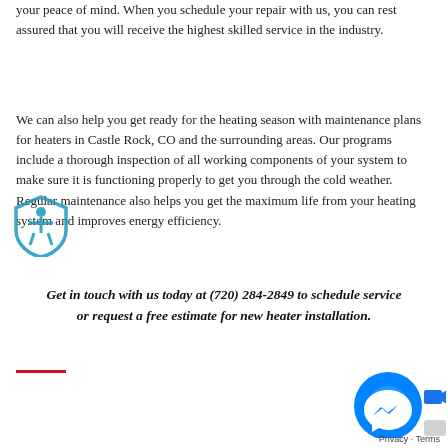your peace of mind. When you schedule your repair with us, you can rest assured that you will receive the highest skilled service in the industry.
We can also help you get ready for the heating season with maintenance plans for heaters in Castle Rock, CO and the surrounding areas. Our programs include a thorough inspection of all working components of your system to make sure it is functioning properly to get you through the cold weather. Regular maintenance also helps you get the maximum life from your heating system and improves energy efficiency.
Get in touch with us today at (720) 284-2849 to schedule service or request a free estimate for new heater installation.
[Figure (logo): Accessibility icon — blue shield with person figure inside]
[Figure (illustration): Facebook Messenger chat widget button in blue circle with video icon, bottom right corner]
Privacy · Terms